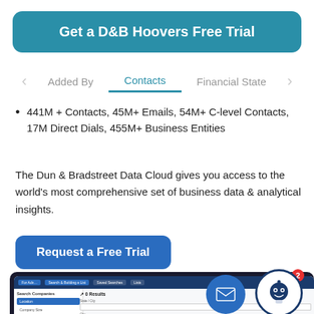Get a D&B Hoovers Free Trial
Added By   Contacts   Financial State
441M + Contacts, 45M+ Emails, 54M+ C-level Contacts, 17M Direct Dials, 455M+ Business Entities
The Dun & Bradstreet Data Cloud gives you access to the world's most comprehensive set of business data & analytical insights.
Request a Free Trial
[Figure (screenshot): Screenshot of D&B Hoovers web interface showing Search Companies panel with sidebar filters and main content area, with floating email icon circle and robot/chatbot icon with notification badge showing '2']